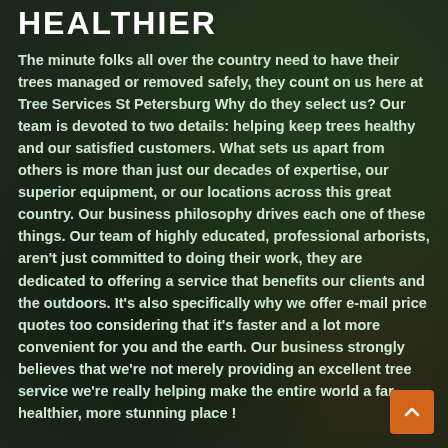HEALTHIER
The minute folks all over the country need to have their trees managed or removed safely, they count on us here at Tree Services St Petersburg Why do they select us? Our team is devoted to two details: helping keep trees healthy and our satisfied customers. What sets us apart from others is more than just our decades of expertise, our superior equipment, or our locations across this great country. Our business philosophy drives each one of these things. Our team of highly educated, professional arborists, aren't just committed to doing their work, they are dedicated to offering a service that benefits our clients and the outdoors. It's also specifically why we offer e-mail price quotes too considering that it's faster and a lot more convenient for you and the earth. Our business strongly believes that we're not merely providing an excellent tree service we're really helping make the entire world a far healthier, more stunning place !